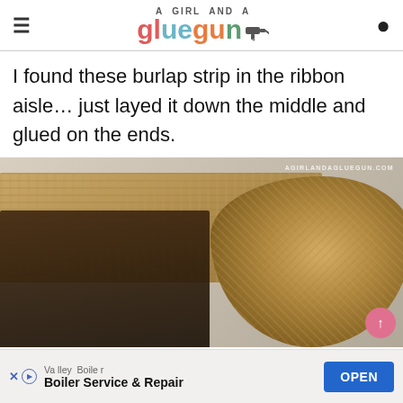A GIRL AND A gluegun [logo with glue gun icon]
I found these burlap strip in the ribbon aisle… just layed it down the middle and glued on the ends.
[Figure (photo): A burlap strip laid flat on a dark wooden plank, with a roll of burlap ribbon visible on the right side. Watermark reads AGIRLANDAGLUEGUN.COM]
Valley Boiler
Boiler Service & Repair